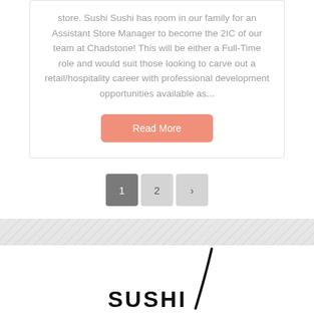store. Sushi Sushi has room in our family for an Assistant Store Manager to become the 2IC of our team at Chadstone! This will be either a Full-Time role and would suit those looking to carve out a retail/hospitality career with professional development opportunities available as...
Read More
1  2  >
[Figure (logo): Sushi Sushi brand logo at the bottom of the page, partially visible]